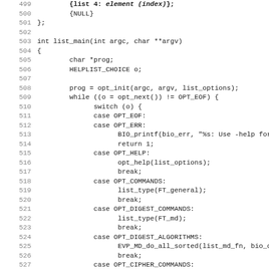[Figure (screenshot): Source code listing lines 499-531 showing C code for list_main function with option parsing switch statement including cases for OPT_EOF, OPT_ERR, OPT_HELP, OPT_COMMANDS, OPT_DIGEST_COMMANDS, OPT_DIGEST_ALGORITHMS, OPT_CIPHER_COMMANDS, OPT_CIPHER_ALGORITHMS]